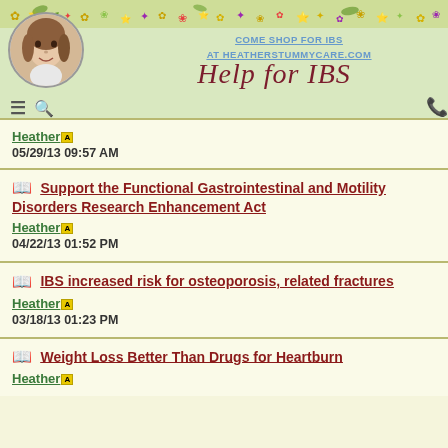[Figure (screenshot): Website header for Help for IBS with floral banner, profile photo, shop link, logo, and navigation icons]
Heather [A badge]
05/29/13 09:57 AM
Support the Functional Gastrointestinal and Motility Disorders Research Enhancement Act
Heather [A badge]
04/22/13 01:52 PM
IBS increased risk for osteoporosis, related fractures
Heather [A badge]
03/18/13 01:23 PM
Weight Loss Better Than Drugs for Heartburn
Heather [A badge]